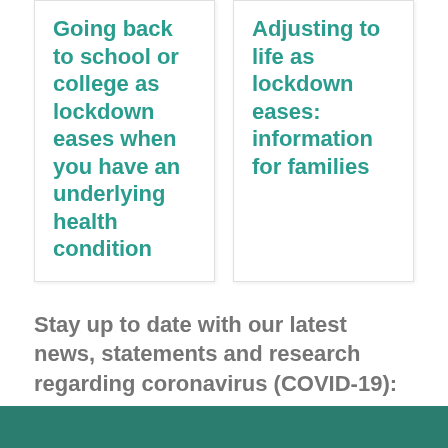Going back to school or college as lockdown eases when you have an underlying health condition
Adjusting to life as lockdown eases: information for families
Stay up to date with our latest news, statements and research regarding coronavirus (COVID-19):